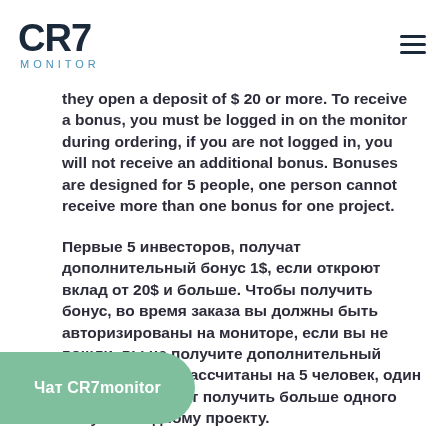CR7 MONITOR
they open a deposit of $ 20 or more. To receive a bonus, you must be logged in on the monitor during ordering, if you are not logged in, you will not receive an additional bonus. Bonuses are designed for 5 people, one person cannot receive more than one bonus for one project.
Первые 5 инвесторов, получат дополнительный бонус 1$, если откроют вклад от 20$ и больше. Чтобы получить бонус, во время заказа вы должны быть авторизированы на мониторе, если вы не вошли, вы не получите дополнительный бонус. Бонусы рассчитаны на 5 человек, один человек не может получить больше одного бонуса по одному проекту.
[Figure (other): Чат CR7monitor button - green rounded pill button]
[Figure (other): Телеграм канал button - green rounded pill button]
REFERRAL COMMISSION BACK
YOU CAN SIGNUP AND LOGIN INTO OUR SITE TO TRACK YOUR REFBACKS